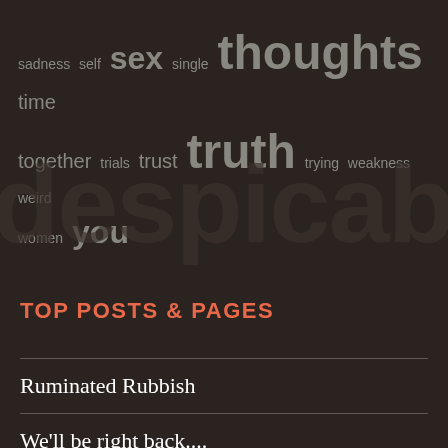[Figure (other): Word cloud and blog background with dark overlay showing tags like sadness, self, sex, single, thoughts, time, together, trials, trust, truth, trying, weakness, weird, women, you, and large background text 'despicable']
TOP POSTS & PAGES
Ruminated Rubbish
We'll be right back....
Curl Patterns
Irrepressible Gaiety
Wooden Skyscrapers
Pride of Place in Purgatory